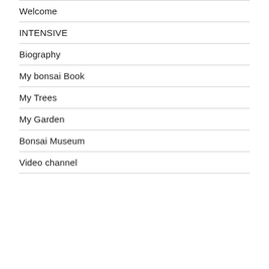Welcome
INTENSIVE
Biography
My bonsai Book
My Trees
My Garden
Bonsai Museum
Video channel